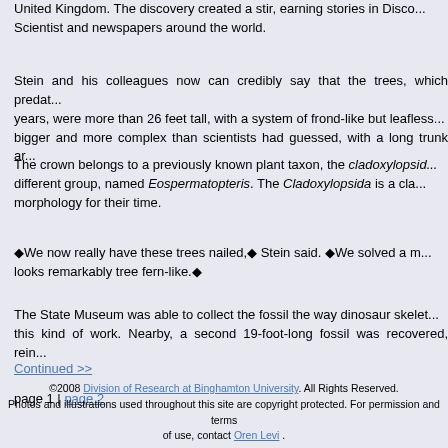United Kingdom. The discovery created a stir, earning stories in Disco... Scientist and newspapers around the world.
Stein and his colleagues now can credibly say that the trees, which predat... years, were more than 26 feet tall, with a system of frond-like but leafless... bigger and more complex than scientists had guessed, with a long trunk ar...
The crown belongs to a previously known plant taxon, the cladoxylopsid... different group, named Eospermatopteris. The Cladoxylopsida is a cla... morphology for their time.
◆We now really have these trees nailed,◆ Stein said. ◆We solved a m... looks remarkably tree fern-like.◆
The State Museum was able to collect the fossil the way dinosaur skelet... this kind of work. Nearby, a second 19-foot-long fossil was recovered, rein...
Continued >>
page 1 | page 2
©2008 Division of Research at Binghamton University. All Rights Reserved. Photos and illustrations used throughout this site are copyright protected. For permission and terms of use, contact Oren Levi .